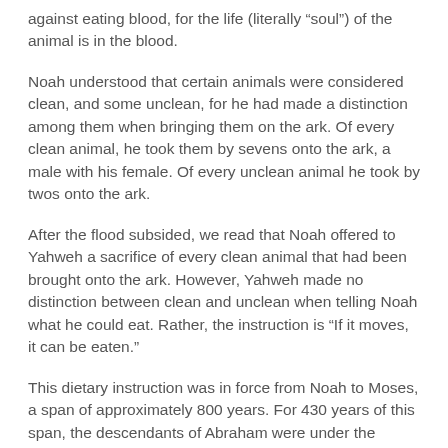against eating blood, for the life (literally “soul”) of the animal is in the blood.
Noah understood that certain animals were considered clean, and some unclean, for he had made a distinction among them when bringing them on the ark. Of every clean animal, he took them by sevens onto the ark, a male with his female. Of every unclean animal he took by twos onto the ark.
After the flood subsided, we read that Noah offered to Yahweh a sacrifice of every clean animal that had been brought onto the ark. However, Yahweh made no distinction between clean and unclean when telling Noah what he could eat. Rather, the instruction is “If it moves, it can be eaten.”
This dietary instruction was in force from Noah to Moses, a span of approximately 800 years. For 430 years of this span, the descendants of Abraham were under the Noahide laws, for the Mosaic Law had not been given. Abraham’s descendants were permitted to eat pigs, and shellfish, and everything that moved on the earth. There was no prohibition